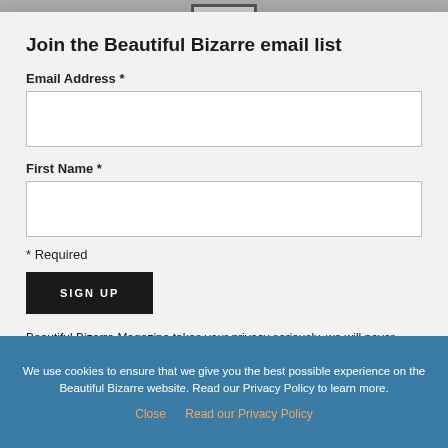Join the Beautiful Bizarre email list
Email Address *
First Name *
* Required
SIGN UP
Beautiful Bizarre Magazine takes your privacy seriously, we will never share your information without your permission.
We use cookies to ensure that we give you the best possible experience on the Beautiful Bizarre website. Read our Privacy Policy to learn more.
Close   Read our Privacy Policy